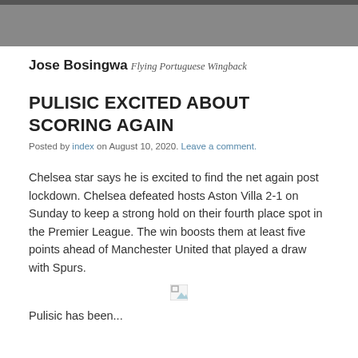Jose Bosingwa
Flying Portuguese Wingback
PULISIC EXCITED ABOUT SCORING AGAIN
Posted by index on August 10, 2020. Leave a comment.
Chelsea star says he is excited to find the net again post lockdown. Chelsea defeated hosts Aston Villa 2-1 on Sunday to keep a strong hold on their fourth place spot in the Premier League. The win boosts them at least five points ahead of Manchester United that played a draw with Spurs.
[Figure (photo): Broken/missing image placeholder]
Pulisic has been...